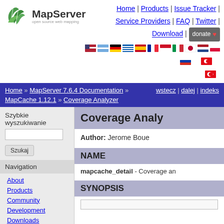[Figure (logo): MapServer logo with green leaf icon and 'open source web mapping' tagline]
Home | Products | Issue Tracker | Service Providers | FAQ | Twitter | Download | donate
[Figure (infographic): Row of country flag icons for language selection]
Home » MapServer 7.6.4 Documentation » MapCache 1.12.1 » Coverage Analyzer | wstecz | dalej | indeks
Szybkie wyszukiwanie
Szukaj
Navigation
About
Products
Community
Development
Downloads
Documentation
FAQ
Coverage Analyzer
Author: Jerome Boue
NAME
mapcache_detail - Coverage an...
SYNOPSIS